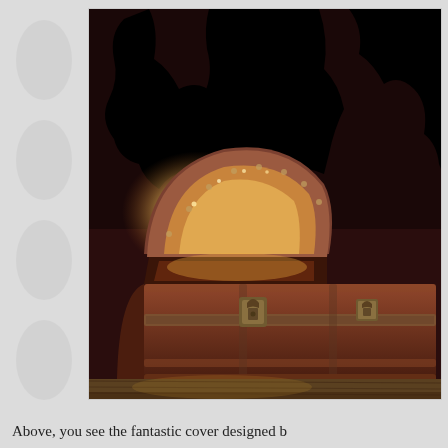[Figure (photo): A large ornate antique treasure chest with a domed lid open, glowing with warm golden light from inside. Black silhouettes of figures are visible above the chest. The chest is sitting on a wooden surface. Dark reddish-brown background.]
Above, you see the fantastic cover designed b